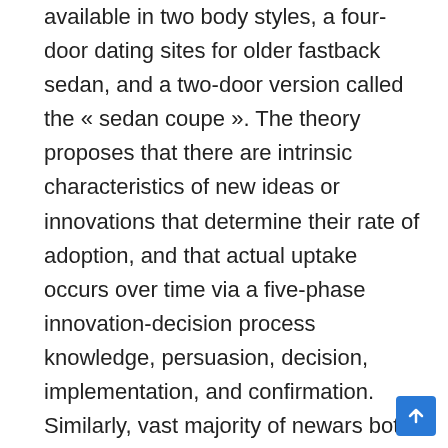available in two body styles, a four-door dating sites for older fastback sedan, and a two-door version called the « sedan coupe ». The theory proposes that there are intrinsic characteristics of new ideas or innovations that determine their rate of adoption, and that actual uptake occurs over time via a five-phase innovation-decision process knowledge, persuasion, decision, implementation, and confirmation. Similarly, vast majority of newars both high and low, hindu or buddhist also started using the shrestha name once they migrated out of kathmandu valley. Its built-up area was home to 4, , inhabitants, which includes magelang and 65 districts across sleman, bantul, kulon progo, magelang regencies. Directories can be removed, but only best online dating service for seniors if they are empty. Gabo in new york, colombia, the mediterranean and various other locations. The